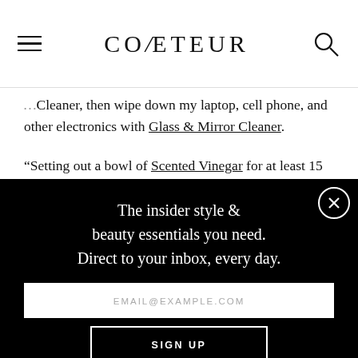COVETEUR
Cleaner, then wipe down my laptop, cell phone, and other electronics with Glass & Mirror Cleaner.
“Setting out a bowl of Scented Vinegar for at least 15 minutes at the beginning or end of the day (or both) will...
[Figure (screenshot): Email newsletter signup modal overlay with black background. Text reads: 'The insider style & beauty essentials you need. Direct to your inbox, every day.' with an email input field placeholder 'EMAIL@EXAMPLE.COM' and a 'SIGN UP' button. A close (X) button is in the top-right corner.]